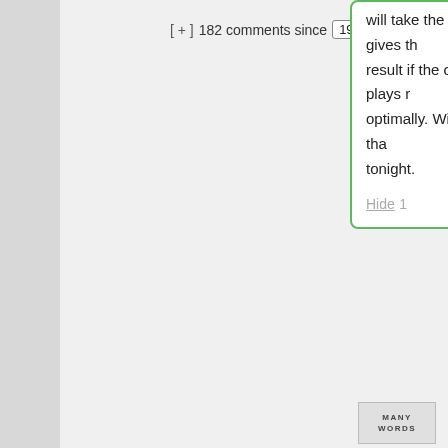[ + ]  182 comments since   1970-01-01 00:0
will take the one that gives the best result if the opponent plays optimally. Will have to try that tonight.
Hide 1
[Figure (other): Avatar image placeholder showing text MANY WORDS]
Fishbreath says: January 7, 2020 at  ~new~  As someone who board game AI re closely (I maintain extant engine for hnefatafl family of https://git.io/Jvekf share that tree se no longer the top